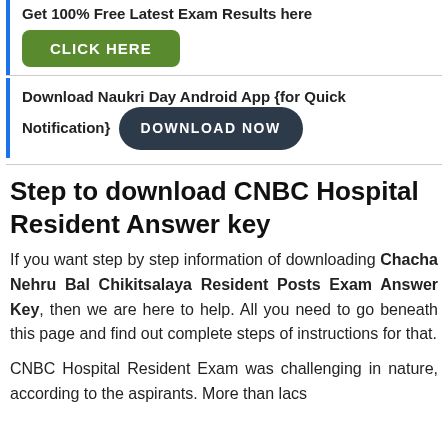Get 100% Free Latest Exam Results here
[Figure (other): Green CLICK HERE button]
Download Naukri Day Android App {for Quick Notification}
[Figure (other): Dark DOWNLOAD NOW button]
Step to download CNBC Hospital Resident Answer key
If you want step by step information of downloading Chacha Nehru Bal Chikitsalaya Resident Posts Exam Answer Key, then we are here to help. All you need to go beneath this page and find out complete steps of instructions for that.
CNBC Hospital Resident Exam was challenging in nature, according to the aspirants. More than lacs